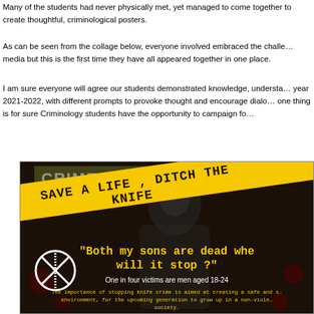Many of the students had never physically met, yet managed to come together to create thoughtful, criminological posters.
As can be seen from the collage below, everyone involved embraced the challenge. The posters have featured in various media but this is the first time they have all appeared together in one place.
I am sure everyone will agree our students demonstrated knowledge, understanding and passion for Criminology during the year 2021-2022, with different prompts to provoke thought and encourage dialogue. Whatever a student's view, one thing is for sure Criminology students have the opportunity to campaign for change.
[Figure (infographic): Anti-knife crime poster with black background showing a hooded figure. Text reads 'CRIME SCENE' at top, yellow diagonal tape banner reading 'SAVE A LIFE , DITCH THE KNIFE', quote 'Both my sons are dead when will it stop ?' in yellow monospace font, 'One in four victims are men aged 18-24' in white, and 'The importance of stopping knife crime is aimed at creating a safe and secure environment, for the upcoming generation to grow up in a non-violent society.' in yellow monospace at bottom. A crossed-out knife icon appears on the left.]